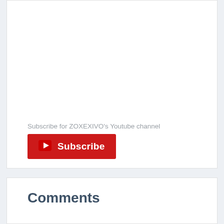Subscribe for ZOXEXIVO's Youtube channel
[Figure (other): Red YouTube Subscribe button with play icon]
Comments